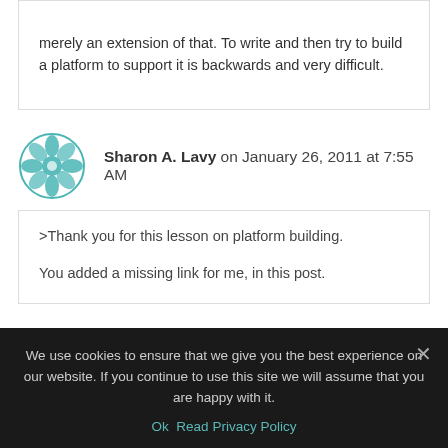merely an extension of that. To write and then try to build a platform to support it is backwards and very difficult.
Sharon A. Lavy on January 26, 2011 at 7:55 AM
>Thank you for this lesson on platform building.

You added a missing link for me, in this post.
We use cookies to ensure that we give you the best experience on our website. If you continue to use this site we will assume that you are happy with it.
Ok   Read Privacy Policy